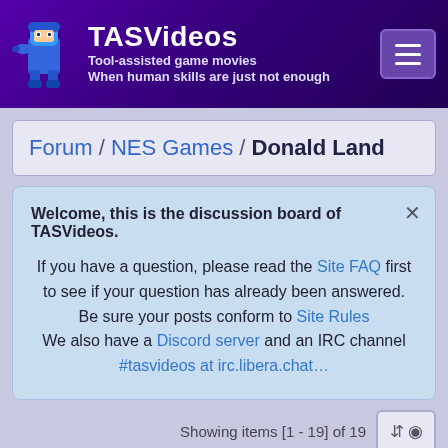TASVideos – Tool-assisted game movies – When human skills are just not enough
Forum / NES Games / Donald Land
Welcome, this is the discussion board of TASVideos. If you have a question, please read the Site FAQ first to see if your question has already been answered. Be sure your posts conform to Site Rules. We also have a Discord server and an IRC channel #tasvideos at irc.libera.chat...
Showing items [1 - 19] of 19
Posted: 12/3/2018 5:07 AM